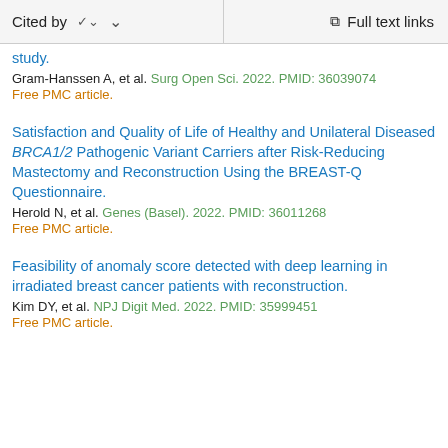Cited by  ∨   Full text links
study.
Gram-Hanssen A, et al. Surg Open Sci. 2022. PMID: 36039074
Free PMC article.
Satisfaction and Quality of Life of Healthy and Unilateral Diseased BRCA1/2 Pathogenic Variant Carriers after Risk-Reducing Mastectomy and Reconstruction Using the BREAST-Q Questionnaire.
Herold N, et al. Genes (Basel). 2022. PMID: 36011268
Free PMC article.
Feasibility of anomaly score detected with deep learning in irradiated breast cancer patients with reconstruction.
Kim DY, et al. NPJ Digit Med. 2022. PMID: 35999451
Free PMC article.